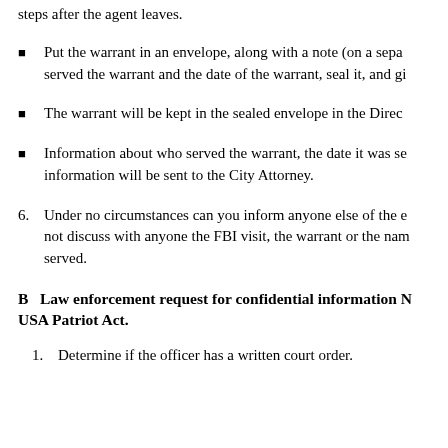steps after the agent leaves.
Put the warrant in an envelope, along with a note (on a separate sheet) that states who served the warrant and the date of the warrant, seal it, and gi…
The warrant will be kept in the sealed envelope in the Direc…
Information about who served the warrant, the date it was se… information will be sent to the City Attorney.
6. Under no circumstances can you inform anyone else of the e… not discuss with anyone the FBI visit, the warrant or the nam… served.
B   Law enforcement request for confidential information N… USA Patriot Act.
1. Determine if the officer has a written court order.